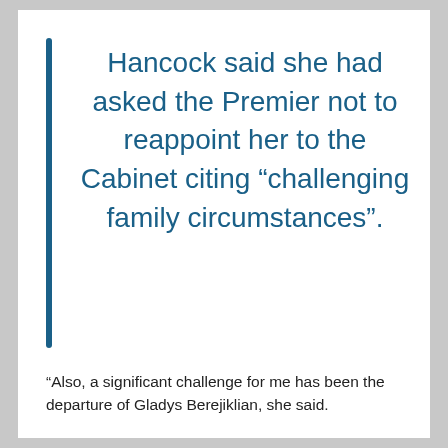Hancock said she had asked the Premier not to reappoint her to the Cabinet citing “challenging family circumstances”.
“Also, a significant challenge for me has been the departure of Gladys Berejiklian, she said.